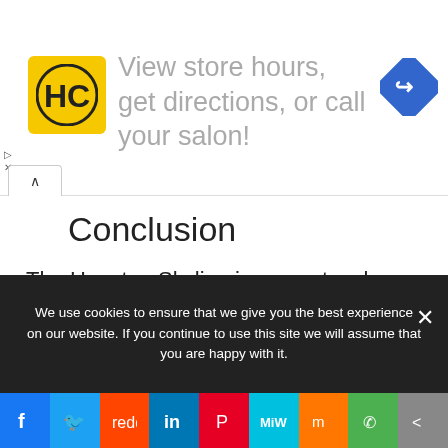[Figure (other): Advertisement banner with HC salon logo and navigation icon. Text: 'View store hours, get directions, or call your salon!']
Conclusion
The Houston Skyline is a spectacular sight to see, admire its financial towers and skyscrapers.
On a trip to Houston, discover its Tex-Mex dining options, popular landmarks, space centers, and nature centers. There is something for every
We use cookies to ensure that we give you the best experience on our website. If you continue to use this site we will assume that you are happy with it.
[Figure (other): Social sharing bar with icons: Facebook, Twitter, Reddit, LinkedIn, Pinterest, MeWe, Mix, WhatsApp, Share]